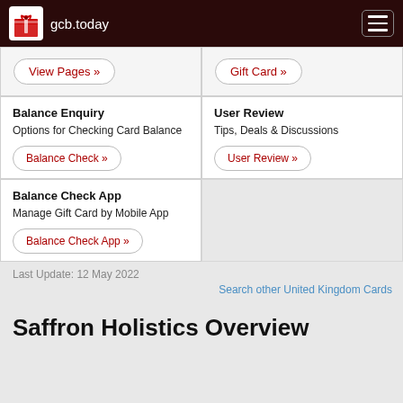gcb.today
View Pages »
Gift Card »
Balance Enquiry
Options for Checking Card Balance
Balance Check »
User Review
Tips, Deals & Discussions
User Review »
Balance Check App
Manage Gift Card by Mobile App
Balance Check App »
Last Update: 12 May 2022
Search other United Kingdom Cards
Saffron Holistics Overview